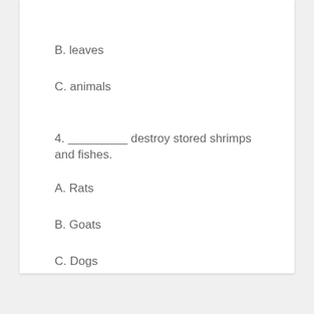B. leaves
C. animals
4. _________ destroy stored shrimps and fishes.
A. Rats
B. Goats
C. Dogs